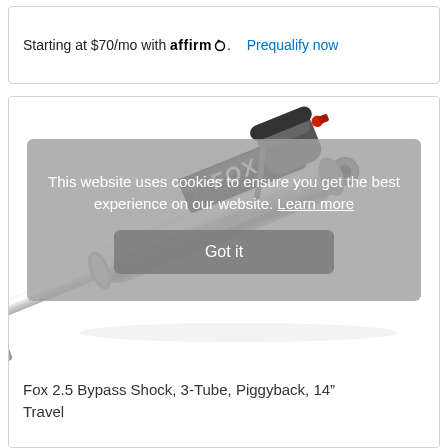Starting at $70/mo with affirm. Prequalify now
[Figure (photo): Fox 2.5 Bypass Shock, 3-Tube, Piggyback shock absorber - silver metallic cylinder with black Fox branding, blue tip, red valve, and mounting eye on right end. Product image on white background with a semi-transparent gray cookie consent overlay reading 'This website uses cookies to ensure you get the best experience on our website. Learn more' and a 'Got it' button.]
Fox 2.5 Bypass Shock, 3-Tube, Piggyback, 14" Travel